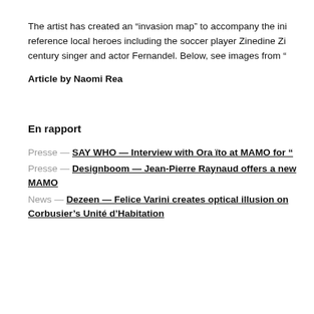The artist has created an “invasion map” to accompany the ini reference local heroes including the soccer player Zinedine Zi century singer and actor Fernandel. Below, see images from “
Article by Naomi Rea
En rapport
Presse — SAY WHO — Interview with Ora ïto at MAMO for “
Presse — Designboom — Jean-Pierre Raynaud offers a new MAMO
News — Dezeen — Felice Varini creates optical illusion on Corbusier’s Unité d’Habitation